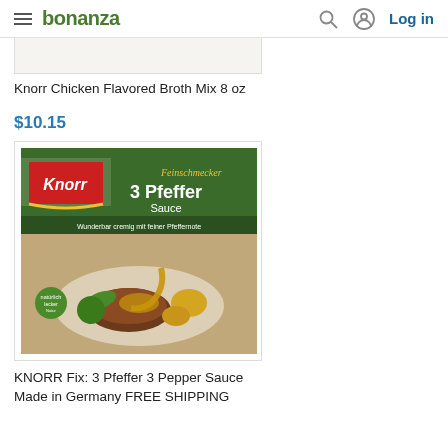bonanza — Log in
[Figure (photo): Partial product image for Knorr Chicken Flavored Broth Mix 8 oz]
Knorr Chicken Flavored Broth Mix 8 oz
$10.15
[Figure (photo): Knorr 3 Pfeffer Sauce package showing steak with pepper sauce, vegetables, and potatoes]
KNORR Fix: 3 Pfeffer 3 Pepper Sauce Made in Germany FREE SHIPPING